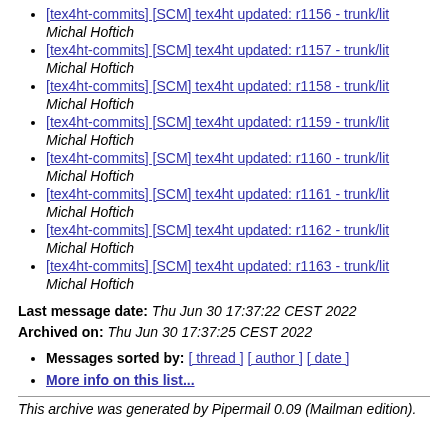[tex4ht-commits] [SCM] tex4ht updated: r1156 - trunk/lit
Michal Hoftich
[tex4ht-commits] [SCM] tex4ht updated: r1157 - trunk/lit
Michal Hoftich
[tex4ht-commits] [SCM] tex4ht updated: r1158 - trunk/lit
Michal Hoftich
[tex4ht-commits] [SCM] tex4ht updated: r1159 - trunk/lit
Michal Hoftich
[tex4ht-commits] [SCM] tex4ht updated: r1160 - trunk/lit
Michal Hoftich
[tex4ht-commits] [SCM] tex4ht updated: r1161 - trunk/lit
Michal Hoftich
[tex4ht-commits] [SCM] tex4ht updated: r1162 - trunk/lit
Michal Hoftich
[tex4ht-commits] [SCM] tex4ht updated: r1163 - trunk/lit
Michal Hoftich
Last message date: Thu Jun 30 17:37:22 CEST 2022
Archived on: Thu Jun 30 17:37:25 CEST 2022
Messages sorted by: [ thread ] [ author ] [ date ]
More info on this list...
This archive was generated by Pipermail 0.09 (Mailman edition).